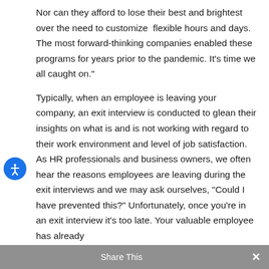Nor can they afford to lose their best and brightest over the need to customize flexible hours and days. The most forward-thinking companies enabled these programs for years prior to the pandemic. It's time we all caught on."
Typically, when an employee is leaving your company, an exit interview is conducted to glean their insights on what is and is not working with regard to their work environment and level of job satisfaction. As HR professionals and business owners, we often hear the reasons employees are leaving during the exit interviews and we may ask ourselves, “Could I have prevented this?” Unfortunately, once you’re in an exit interview it’s too late. Your valuable employee has already
Share This ×